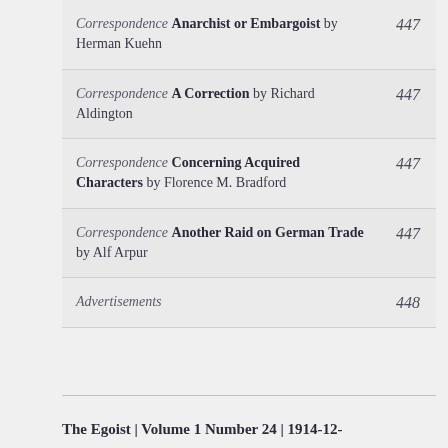Correspondence Anarchist or Embargoist by Herman Kuehn 447
Correspondence A Correction by Richard Aldington 447
Correspondence Concerning Acquired Characters by Florence M. Bradford 447
Correspondence Another Raid on German Trade by Alf Arpur 447
Advertisements 448
The Egoist | Volume 1 Number 24 | 1914-12-